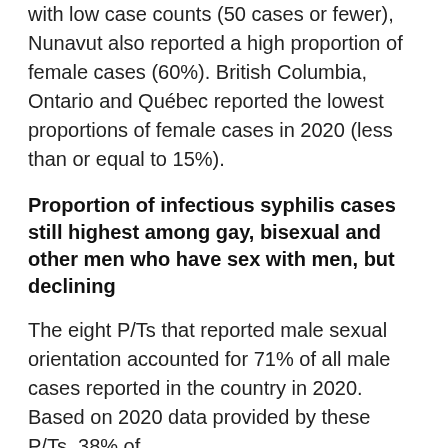with low case counts (50 cases or fewer), Nunavut also reported a high proportion of female cases (60%). British Columbia, Ontario and Québec reported the lowest proportions of female cases in 2020 (less than or equal to 15%).
Proportion of infectious syphilis cases still highest among gay, bisexual and other men who have sex with men, but declining
The eight P/Ts that reported male sexual orientation accounted for 71% of all male cases reported in the country in 2020. Based on 2020 data provided by these P/Ts, 38% of